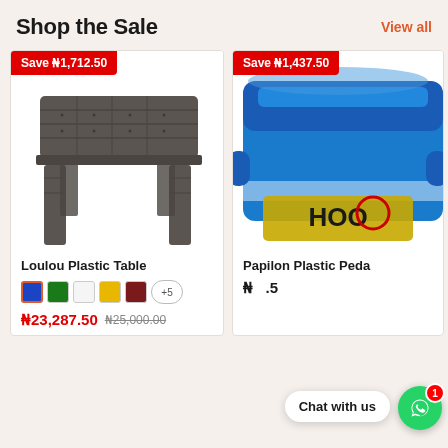Shop the Sale
View all
[Figure (photo): Save ₦1,712.50 badge on product card for Loulou Plastic Table]
[Figure (photo): Loulou Plastic Table - dark brown woven-pattern plastic table]
Loulou Plastic Table
Color swatches: blue (selected), green, white, yellow, dark red, +5
₦23,287.50
₦25,000.00
[Figure (photo): Save ₦1,437.50 badge on product card for Papilon Plastic Peda...]
[Figure (photo): Papilon Plastic Pedal product image - blue and white plastic item]
Papilon Plastic Peda
Chat with us